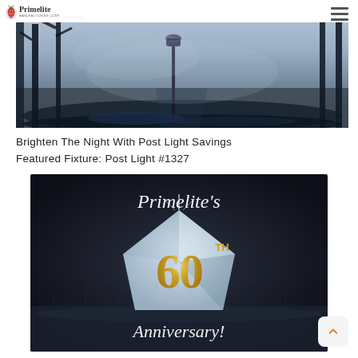Primelite Manufacturing Corp
[Figure (photo): Dark blue misty forest night scene with a lamp post on a path, atmospheric fog]
Brighten The Night With Post Light Savings
Featured Fixture: Post Light #1327
[Figure (photo): Primelite's 60th Anniversary promotional image featuring a diamond gem with gold 60 TH text and cursive script reading Primelite's and Anniversary! on a dark rainy background]